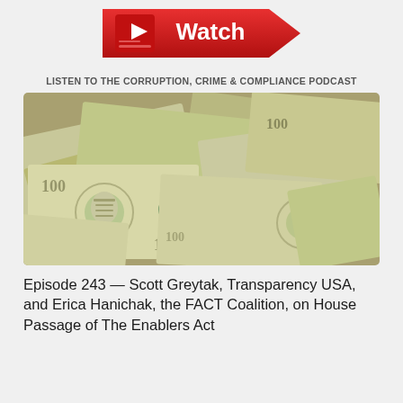[Figure (other): Red arrow-shaped Watch button with play icon on left side, white text 'Watch' on red background]
LISTEN TO THE CORRUPTION, CRIME & COMPLIANCE PODCAST
[Figure (photo): Pile of US $100 dollar bills scattered and overlapping]
Episode 243 — Scott Greytak, Transparency USA, and Erica Hanichak, the FACT Coalition, on House Passage of The Enablers Act